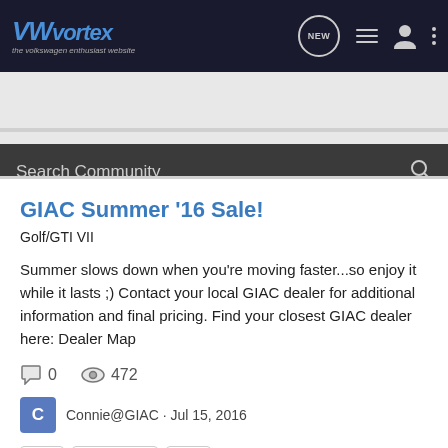VWvortex - the volkswagen enthusiast website
Search Community
flashtune
giac
giac tuning
software
tuning software
GIAC Summer '16 Sale!
Golf/GTI VII
Summer slows down when you're moving faster...so enjoy it while it lasts ;) Contact your local GIAC dealer for additional information and final pricing. Find your closest GIAC dealer here: Dealer Map
0  472
Connie@GIAC · Jul 15, 2016
giac
giac tuning
mk7